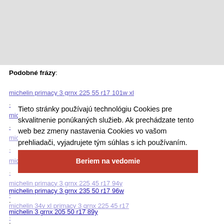[Figure (other): Gray placeholder rectangle at top of page]
Podobné frázy:
michelin primacy 3 grnx 225 55 r17 101w xl ·
michelin 97y primacy 3 grnx ao 225 55 r17 ·
Tieto stránky používajú technológiu Cookies pre skvalitnenie ponúkaných služieb. Ak prechádzate tento web bez zmeny nastavenia Cookies vo vašom prehliadači, vyjadrujete tým súhlas s ich používaním.
Beriem na vedomie
michelin primacy 3 grnx 235 50 r17 96w ·
michelin 3 grnx 205 50 r17 89y ·